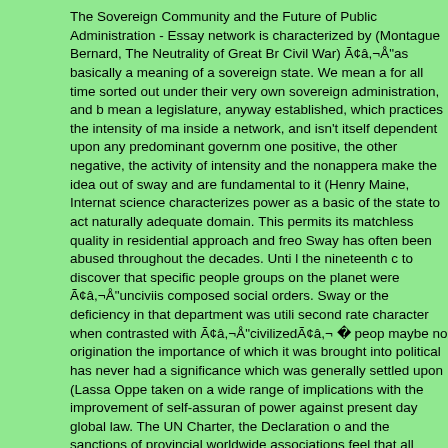The Sovereign Community and the Future of Public Administration - Essay network is characterized by (Montague Bernard, The Neutrality of Great Br Civil War) Ã¢â,¬Å"as basically a meaning of a sovereign state. We mean a for all time sorted out under their very own sovereign administration, and b mean a legislature, anyway established, which practices the intensity of ma inside a network, and isn't itself dependent upon any predominant governm one positive, the other negative, the activity of intensity and the nonappera make the idea out of sway and are fundamental to it (Henry Maine, Internat science characterizes power as a basic of the state to act naturally adequate domain. This permits its matchless quality in residential approach and free Sway has often been abused throughout the decades. Unti l the nineteenth c to discover that specific people groups on the planet were Ã¢â,¬Å"unciviis composed social orders. Sway or the deficiency in that department was utili second rate character when contrasted with Ã¢â,¬Å"civilizedÃ¢â,¬ peop maybe no origination the importance of which it was brought into political has never had a significance which was generally settled upon (Lassa Oppe taken on a wide range of implications with the improvement of self-assuran of power against present day global law. The UN Charter, the Declaration o and the sanctions of provincial worldwide associations feel that all states ar have similar rights and obligations dependent on the reality of their minor p global law. The privilege of any country to decide their own political status of their regional purviews is generally perceived. The word country alludes